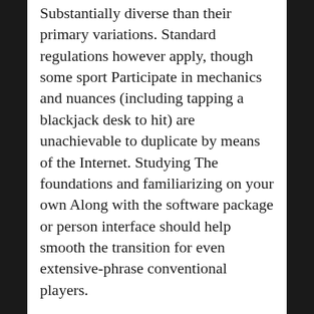Substantially diverse than their primary variations. Standard regulations however apply, though some sport Participate in mechanics and nuances (including tapping a blackjack desk to hit) are unachievable to duplicate by means of the Internet. Studying The foundations and familiarizing on your own Along with the software package or person interface should help smooth the transition for even extensive-phrase conventional players.
On top of that, for knowledgeable gamers, some procedures might must be altered. For example in poker, Among the most prevalent approaches is reading through your opponents in order to obtain if they are bluffing or to easily fully grasp what type of player They are really. For online